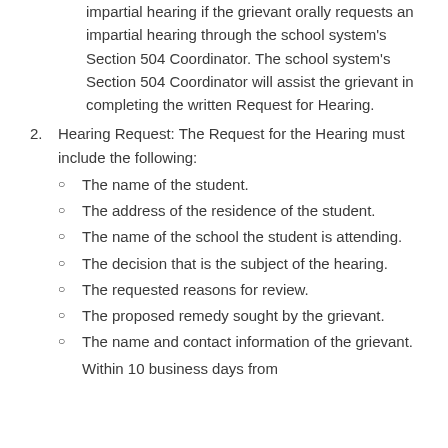impartial hearing if the grievant orally requests an impartial hearing through the school system's Section 504 Coordinator. The school system's Section 504 Coordinator will assist the grievant in completing the written Request for Hearing.
2. Hearing Request: The Request for the Hearing must include the following:
The name of the student.
The address of the residence of the student.
The name of the school the student is attending.
The decision that is the subject of the hearing.
The requested reasons for review.
The proposed remedy sought by the grievant.
The name and contact information of the grievant.
Within 10 business days from...